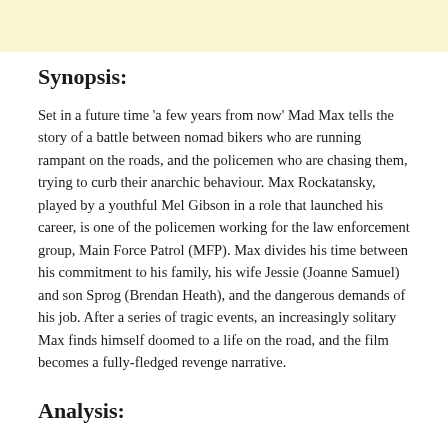Synopsis:
Set in a future time 'a few years from now' Mad Max tells the story of a battle between nomad bikers who are running rampant on the roads, and the policemen who are chasing them, trying to curb their anarchic behaviour. Max Rockatansky, played by a youthful Mel Gibson in a role that launched his career, is one of the policemen working for the law enforcement group, Main Force Patrol (MFP). Max divides his time between his commitment to his family, his wife Jessie (Joanne Samuel) and son Sprog (Brendan Heath), and the dangerous demands of his job. After a series of tragic events, an increasingly solitary Max finds himself doomed to a life on the road, and the film becomes a fully-fledged revenge narrative.
Analysis: